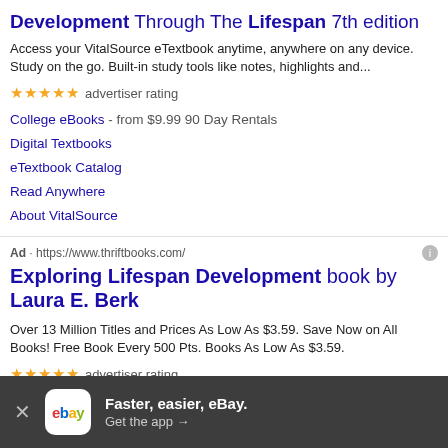Development Through The Lifespan 7th edition
Access your VitalSource eTextbook anytime, anywhere on any device. Study on the go. Built-in study tools like notes, highlights and...
★★★★★ advertiser rating
College eBooks - from $9.99  90 Day Rentals
Digital Textbooks
eTextbook Catalog
Read Anywhere
About VitalSource
Ad · https://www.thriftbooks.com/
Exploring Lifespan Development book by Laura E. Berk
Over 13 Million Titles and Prices As Low As $3.59. Save Now on All Books! Free Book Every 500 Pts. Books As Low As $3.59.
★★★★★ advertiser rating
Deal: 100% off Shipping · On orders over $15
Shop Thriftbooks Deals
Faster, easier, eBay. Get the app →